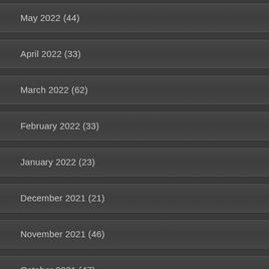May 2022 (44)
April 2022 (33)
March 2022 (62)
February 2022 (33)
January 2022 (23)
December 2021 (21)
November 2021 (46)
October 2021 (47)
September 2021 (39)
August 2021 (47)